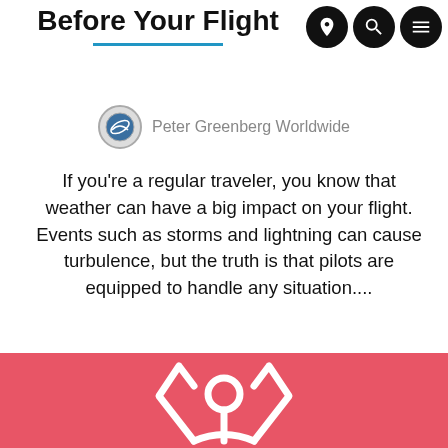Before Your Flight
[Figure (logo): Peter Greenberg Worldwide circular logo with airplane icon]
Peter Greenberg Worldwide
If you're a regular traveler, you know that weather can have a big impact on your flight. Events such as storms and lightning can cause turbulence, but the truth is that pilots are equipped to handle any situation....
[Figure (other): Continue Reading button with blue border and text]
[Figure (logo): Airbnb-style logo on red/pink background at bottom of page]